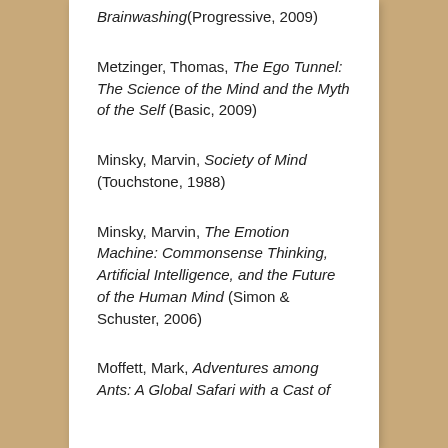Brainwashing(Progressive, 2009)
Metzinger, Thomas, The Ego Tunnel: The Science of the Mind and the Myth of the Self (Basic, 2009)
Minsky, Marvin, Society of Mind (Touchstone, 1988)
Minsky, Marvin, The Emotion Machine: Commonsense Thinking, Artificial Intelligence, and the Future of the Human Mind (Simon & Schuster, 2006)
Moffett, Mark, Adventures among Ants: A Global Safari with a Cast of